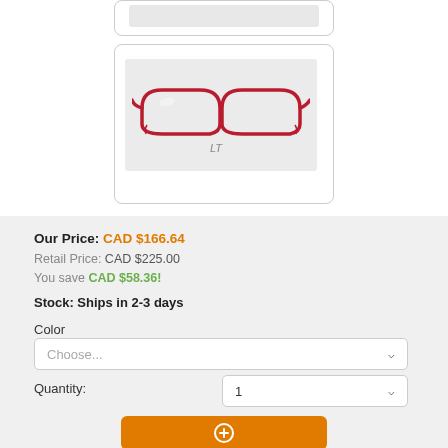[Figure (photo): Top truncated product card showing partial view of glasses thumbnail]
[Figure (photo): Red semi-rimless eyeglasses frames with LT logo on a light gray background, displayed in a rounded white card]
Our Price: CAD $166.64
Retail Price: CAD $225.00
You save CAD $58.36!
Stock: Ships in 2-3 days
Color
Choose...
Quantity:
1